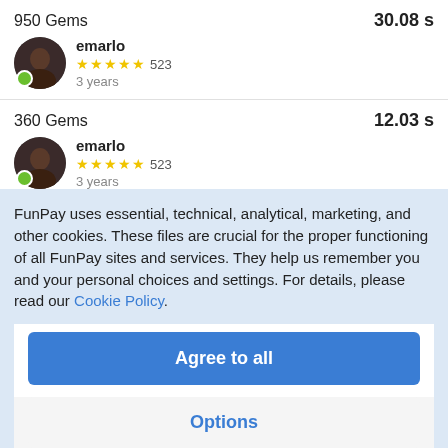950 Gems — 30.08 s
emarlo ★★★★★ 523 — 3 years
360 Gems — 12.03 s
emarlo ★★★★★ 523 — 3 years
170 Gems — 5.85 s
emarlo ★★★★★ 523 — 3 years
FunPay uses essential, technical, analytical, marketing, and other cookies. These files are crucial for the proper functioning of all FunPay sites and services. They help us remember you and your personal choices and settings. For details, please read our Cookie Policy.
Agree to all
Options